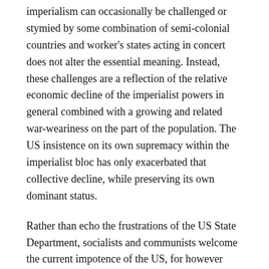imperialism can occasionally be challenged or stymied by some combination of semi-colonial countries and worker's states acting in concert does not alter the essential meaning. Instead, these challenges are a reflection of the relative economic decline of the imperialist powers in general combined with a growing and related war-weariness on the part of the population. The US insistence on its own supremacy within the imperialist bloc has only exacerbated that collective decline, while preserving its own dominant status.
Rather than echo the frustrations of the US State Department, socialists and communists welcome the current impotence of the US, for however long it lasts and however limited it is. In 1997 a triumphalist US imperialism set out its bold plan to brook no global or regional opposition and to be able to fight two major wars simultaneously[xii]. In 2013 the US and its allies were unable to begin bombing Syria.